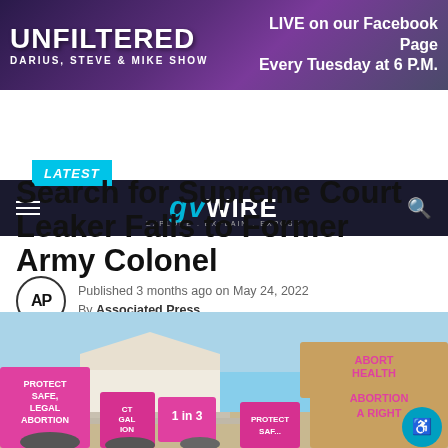[Figure (screenshot): Unfiltered Darius, Steve & Mike Show banner with purple background. Text on right: LIVE on our Facebook Page Every Tuesday at 6 P.M.]
[Figure (logo): GVWire logo with navigation hamburger menu and search icon on dark navy background. Tagline: EXPLORE. EXPLAIN. EXPOSE.]
LATEST
Search for Supreme Court Leaker Falls to Former Army Colonel
Published 3 months ago on May 24, 2022
By Associated Press
[Figure (photo): Photo of protest outside the Supreme Court building. Protesters holding pink and beige signs reading: PROTECT SAFE, LEGAL ABORTION; 1 in 3; ABORTION HEALTH; ABORTION A RIGHT]